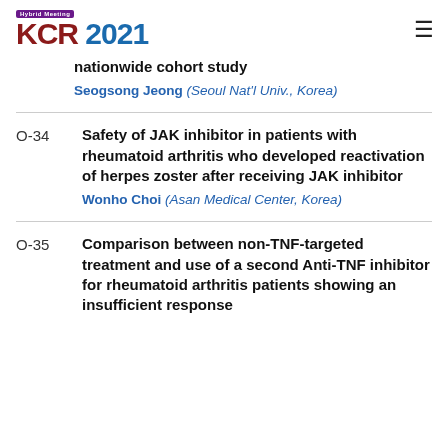KCR 2021 Hybrid Meeting
nationwide cohort study
Seogsong Jeong (Seoul Nat'l Univ., Korea)
O-34
Safety of JAK inhibitor in patients with rheumatoid arthritis who developed reactivation of herpes zoster after receiving JAK inhibitor
Wonho Choi (Asan Medical Center, Korea)
O-35
Comparison between non-TNF-targeted treatment and use of a second Anti-TNF inhibitor for rheumatoid arthritis patients showing an insufficient response